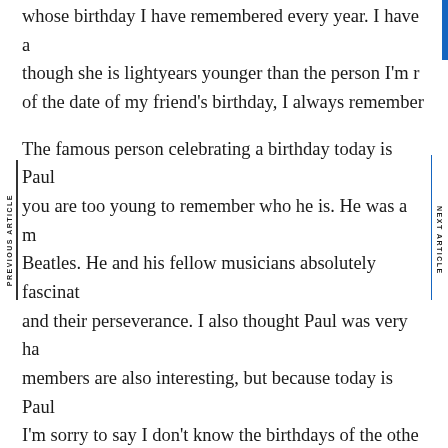whose birthday I have remembered every year. I have a though she is lightyears younger than the person I'm r of the date of my friend's birthday, I always remember
The famous person celebrating a birthday today is Paul you are too young to remember who he is. He was a m Beatles. He and his fellow musicians absolutely fascina and their perseverance. I also thought Paul was very ha members are also interesting, but because today is Paul I'm sorry to say I don't know the birthdays of the othe
I was very young when The Beatles became a sensation their separate ways in 1970, people talk about the grou
PREVIOUS ARTICLE
NEXT ARTICLE